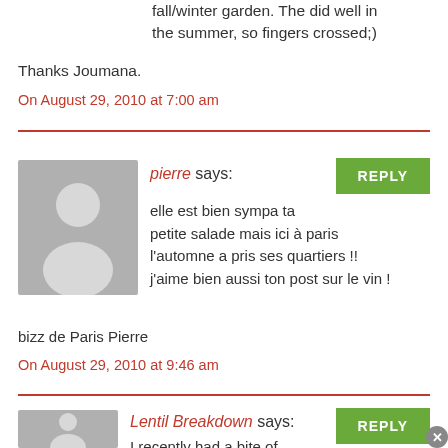fall/winter garden. The did well in the summer, so fingers crossed;) Thanks Joumana.
On August 29, 2010 at 7:00 am
pierre says:
elle est bien sympa ta petite salade mais ici à paris l'automne a pris ses quartiers !! j'aime bien aussi ton post sur le vin ! bizz de Paris Pierre
On August 29, 2010 at 9:46 am
Lentil Breakdown says:
I recently had a bite of